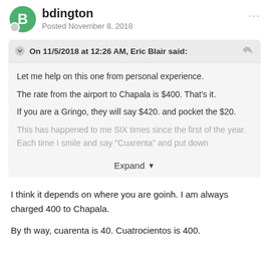bdington — Posted November 8, 2018
On 11/5/2018 at 12:26 AM, Eric Blair said:
Let me help on this one from personal experience.

The rate from the airport to Chapala is $400. That's it.

If you are a Gringo, they will say $420. and pocket the $20.

This has happened to me SIX times since the first of the year. Each time I smile and say "Cuarenta" and put down
Expand
I think it depends on where you are goinh.  I am always charged 400 to Chapala.
By th way, cuarenta is 40.  Cuatrocientos is 400.